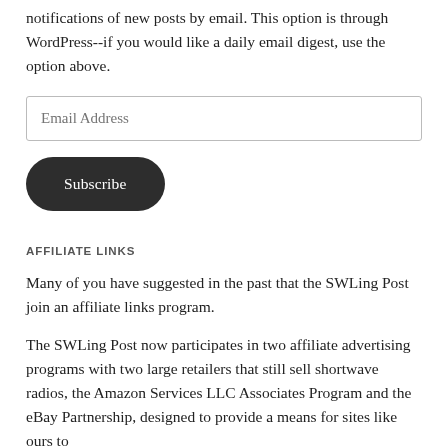notifications of new posts by email. This option is through WordPress--if you would like a daily email digest, use the option above.
Email Address
Subscribe
AFFILIATE LINKS
Many of you have suggested in the past that the SWLing Post join an affiliate links program.
The SWLing Post now participates in two affiliate advertising programs with two large retailers that still sell shortwave radios, the Amazon Services LLC Associates Program and the eBay Partnership, designed to provide a means for sites like ours to